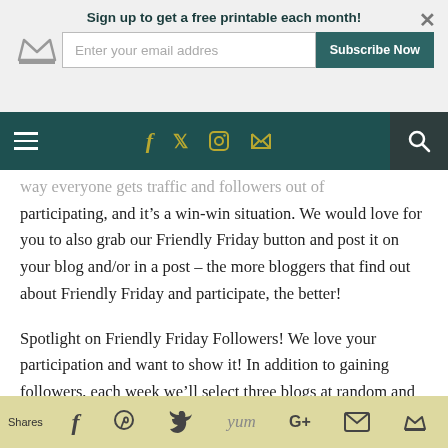Sign up to get a free printable each month!
[Figure (screenshot): Navigation bar with hamburger menu, social icons (Facebook, Twitter, Instagram, RSS), and search button on dark teal background]
way everyone gets traffic and followers out of participating, and it's a win-win situation. We would love for you to also grab our Friendly Friday button and post it on your blog and/or in a post – the more bloggers that find out about Friendly Friday and participate, the better!
Spotlight on Friendly Friday Followers! We love your participation and want to show it! In addition to gaining followers, each week we'll select three blogs at random and will feature links and a write-up for those blogs in the
Shares  [social share icons: Facebook, Pinterest, Twitter, Yummly, Google+, Email, Crown]